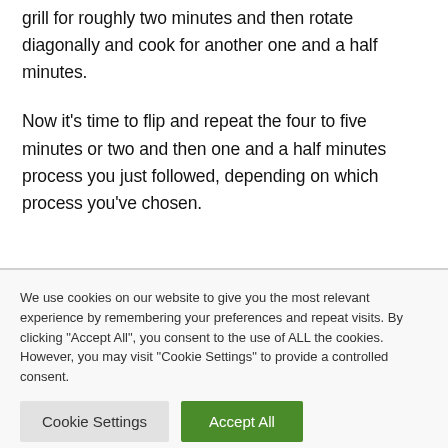grill for roughly two minutes and then rotate diagonally and cook for another one and a half minutes.
Now it's time to flip and repeat the four to five minutes or two and then one and a half minutes process you just followed, depending on which process you've chosen.
We use cookies on our website to give you the most relevant experience by remembering your preferences and repeat visits. By clicking "Accept All", you consent to the use of ALL the cookies. However, you may visit "Cookie Settings" to provide a controlled consent.